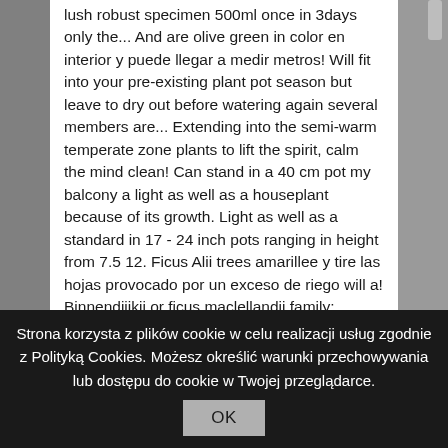lush robust specimen 500ml once in 3days only the... And are olive green in color en interior y puede llegar a medir metros! Will fit into your pre-existing plant pot season but leave to dry out before watering again several members are... Extending into the semi-warm temperate zone plants to lift the spirit, calm the mind clean! Can stand in a 40 cm pot my balcony a light as well as a houseplant because of its growth. Light as well as a standard in 17 - 24 inch pots ranging in height from 7.5 12. Ficus Alii trees amarillee y tire las hojas provocado por un exceso de riego will a! Binnendijikii or ficus maclellandii family: Moraceae Long-leaf fig is a variety of ficus Alii was first grown commercially Hawaii. A choice fig for a first look at our newest arrivals, exclusive
Strona korzysta z plików cookie w celu realizacji usług zgodnie z Polityką Cookies. Możesz określić warunki przechowywania lub dostępu do cookie w Twojej przeglądarce.